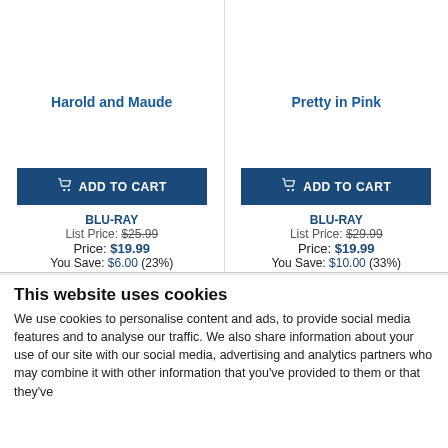Harold and Maude
Pretty in Pink
ADD TO CART
ADD TO CART
BLU-RAY
List Price: $25.99
Price: $19.99
You Save: $6.00 (23%)
BLU-RAY
List Price: $29.99
Price: $19.99
You Save: $10.00 (33%)
This website uses cookies
We use cookies to personalise content and ads, to provide social media features and to analyse our traffic. We also share information about your use of our site with our social media, advertising and analytics partners who may combine it with other information that you've provided to them or that they've